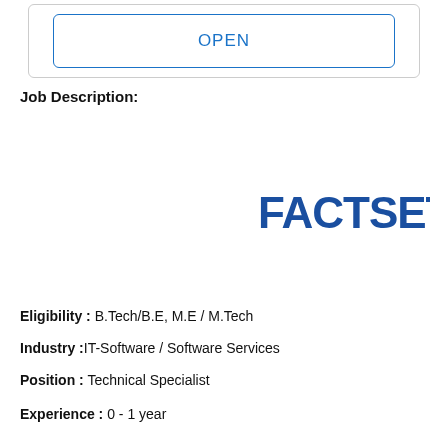[Figure (other): OPEN button UI element inside a rounded rectangle border]
Job Description:
[Figure (logo): FactSet company logo in bold blue text]
Eligibility : B.Tech/B.E, M.E / M.Tech
Industry :IT-Software / Software Services
Position : Technical Specialist
Experience : 0 - 1 year